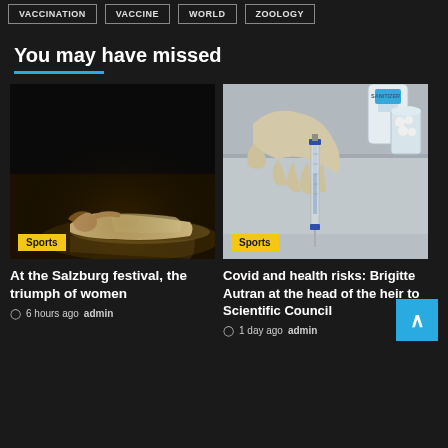VACCINATION | VACCINE | WORLD | ZOOLOGY
You may have missed
[Figure (photo): A woman in a white dress lying gracefully on a dark stage, theatrical performance photo. Sports badge overlay.]
At the Salzburg festival, the triumph of women
6 hours ago  admin
[Figure (photo): Close-up of gloved hands holding a medical syringe on a metallic tray, with sanitizer bottle visible in background. Sports badge overlay.]
Covid and health risks: Brigitte Autran at the head of the heir to Scientific Council
1 day ago  admin